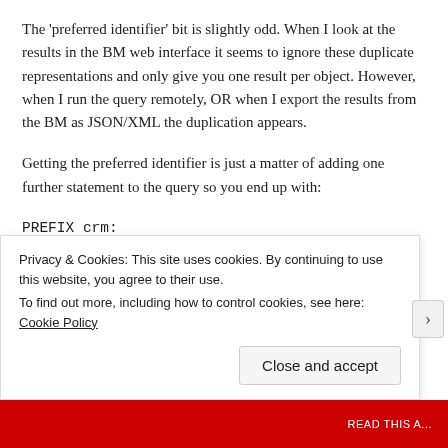The 'preferred identifier' bit is slightly odd. When I look at the results in the BM web interface it seems to ignore these duplicate representations and only give you one result per object. However, when I run the query remotely, OR when I export the results from the BM as JSON/XML the duplication appears.
Getting the preferred identifier is just a matter of adding one further statement to the query so you end up with:
PREFIX crm:
PREFIX skos:
PREFIX thes:
PREFIX lf...
Privacy & Cookies: This site uses cookies. By continuing to use this website, you agree to their use.
To find out more, including how to control cookies, see here: Cookie Policy